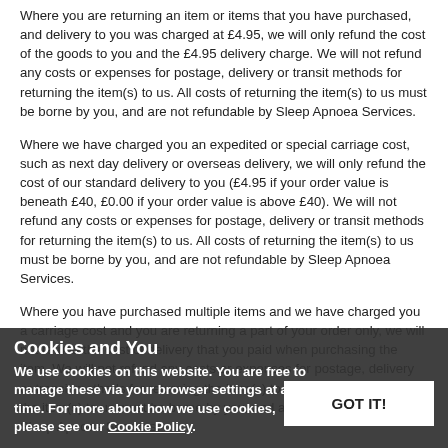Where you are returning an item or items that you have purchased, and delivery to you was charged at £4.95, we will only refund the cost of the goods to you and the £4.95 delivery charge. We will not refund any costs or expenses for postage, delivery or transit methods for returning the item(s) to us. All costs of returning the item(s) to us must be borne by you, and are not refundable by Sleep Apnoea Services.
Where we have charged you an expedited or special carriage cost, such as next day delivery or overseas delivery, we will only refund the cost of our standard delivery to you (£4.95 if your order value is beneath £40, £0.00 if your order value is above £40). We will not refund any costs or expenses for postage, delivery or transit methods for returning the item(s) to us. All costs of returning the item(s) to us must be borne by you, and are not refundable by Sleep Apnoea Services.
Where you have purchased multiple items and we have charged you a carriage cost and you are returning a part of your order only, we will not refund the cost of delivery that you paid when purchasing the item. We will not refund any costs or expenses for postage, delivery or transit methods for returning the item(s) to us. All costs of returning the item(s) to us must be borne by you, and are not refundable by Sleep Apnoea Services.
Please note that certain items are excluded from the Consumer Contracts (Information, cancellation and Additional Charges) Regulations 2013 on grounds of hygiene or by the very nature of the product. If you would like further information about the returns
Cookies and You
We use cookies on this website. You are free to manage these via your browser settings at any time. For more about how we use cookies, please see our Cookie Policy.